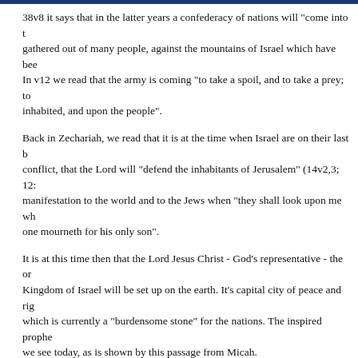38v8 it says that in the latter years a confederacy of nations will "come into t... gathered out of many people, against the mountains of Israel which have bee... In v12 we read that the army is coming "to take a spoil, and to take a prey; to... inhabited, and upon the people".
Back in Zechariah, we read that it is at the time when Israel are on their last b... conflict, that the Lord will "defend the inhabitants of Jerusalem" (14v2,3; 12:... manifestation to the world and to the Jews when "they shall look upon me wh... one mourneth for his only son".
It is at this time then that the Lord Jesus Christ - God's representative - the or... Kingdom of Israel will be set up on the earth. It's capital city of peace and rig... which is currently a "burdensome stone" for the nations. The inspired prophe... we see today, as is shown by this passage from Micah.
"But in the last days it shall come to pass, that the mountain of the house of t... mountains, and it shall be exalted above the hills; and people shall flow unto... And many nations shall come, and say, Come, and let us go up to the mounta... and he will teach us of his ways, and we will walk in his paths: for the law sh... Jerusalem." Micah 4:1-2